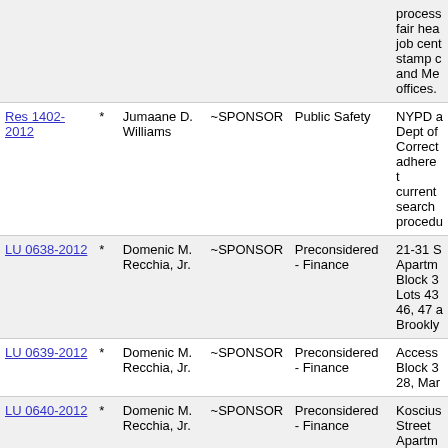| ID |  | Name | Role | Committee | Description |
| --- | --- | --- | --- | --- | --- |
|  |  |  |  |  | process fair hea job cent stamp c and Me offices. |
| Res 1402-2012 | * | Jumaane D. Williams | ~SPONSOR | Public Safety | NYPD a Dept of Correct adhere t current search procedu |
| LU 0638-2012 | * | Domenic M. Recchia, Jr. | ~SPONSOR | Preconsidered - Finance | 21-31 S Apartm Block 3 Lots 43 46, 47 a Brookly |
| LU 0639-2012 | * | Domenic M. Recchia, Jr. | ~SPONSOR | Preconsidered - Finance | Access Block 3 28, Mar |
| LU 0640-2012 | * | Domenic M. Recchia, Jr. | ~SPONSOR | Preconsidered - Finance | Koscius Street Apartm Block 1 |